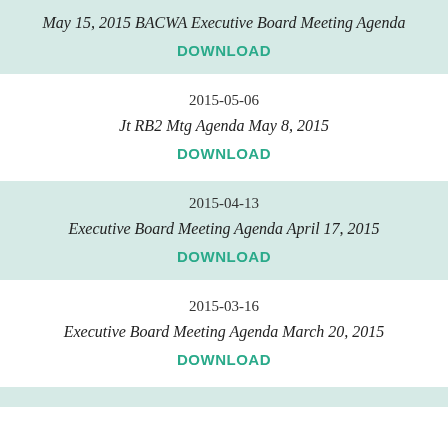May 15, 2015 BACWA Executive Board Meeting Agenda
DOWNLOAD
2015-05-06
Jt RB2 Mtg Agenda May 8, 2015
DOWNLOAD
2015-04-13
Executive Board Meeting Agenda April 17, 2015
DOWNLOAD
2015-03-16
Executive Board Meeting Agenda March 20, 2015
DOWNLOAD